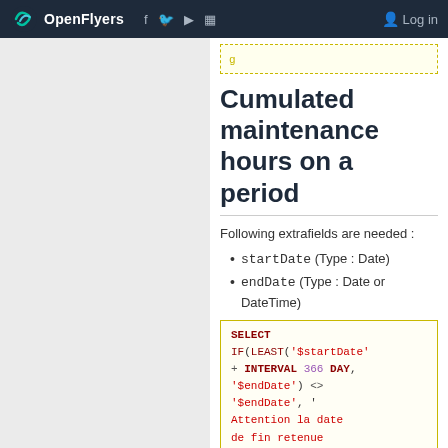OpenFlyers — Log in
Cumulated maintenance hours on a period
Following extrafields are needed :
startDate (Type : Date)
endDate (Type : Date or DateTime)
[Figure (screenshot): SQL code block: SELECT IF(LEAST('$startDate' + INTERVAL 366 DAY, '$endDate') <> '$endDate', 'Attention la date de fin retenue]